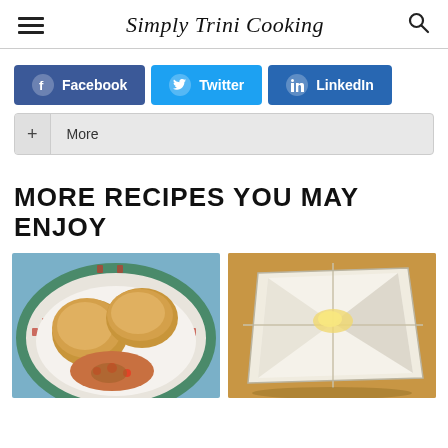Simply Trini Cooking
[Figure (infographic): Social share buttons: Facebook (blue), Twitter (blue), LinkedIn (dark blue), and a More (+) button in grey]
MORE RECIPES YOU MAY ENJOY
[Figure (photo): A plate with bread rolls and a chicken/vegetable filling on a decorative green and white plate]
[Figure (photo): A folded flatbread/paratha roti with butter/filling on a golden/brown cloth background]